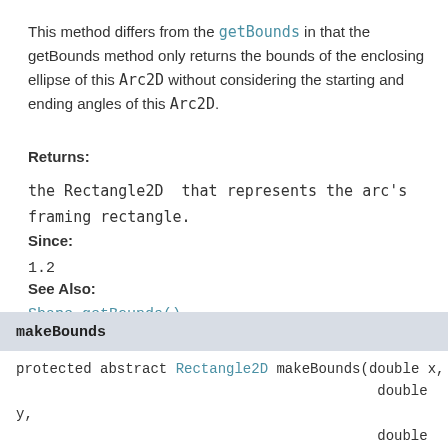This method differs from the getBounds in that the getBounds method only returns the bounds of the enclosing ellipse of this Arc2D without considering the starting and ending angles of this Arc2D.
Returns:
the Rectangle2D that represents the arc's framing rectangle.
Since:
1.2
See Also:
Shape.getBounds()
makeBounds
protected abstract Rectangle2D makeBounds(double x,
                                    double y,
                                    double w,
                                    double h)